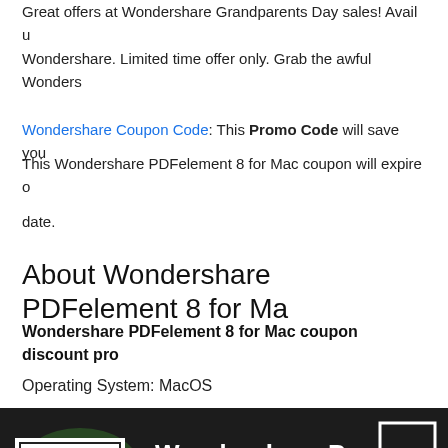Great offers at Wondershare Grandparents Day sales! Avail up... Wondershare. Limited time offer only. Grab the awful Wonders...
Wondershare Coupon Code: This Promo Code will save you...
This Wondershare PDFelement 8 for Mac coupon will expire o...
date.
About Wondershare PDFelement 8 for Ma...
Wondershare PDFelement 8 for Mac coupon discount pro...
Operating System: MacOS
[Figure (screenshot): Wondershare PDFelement 8 for Mac product banner image with QR code, green plant background, software UI screenshot, and orange scissors icon]